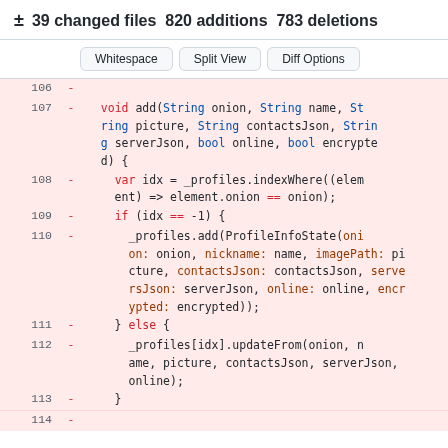± 39 changed files  820 additions  783 deletions
[Figure (screenshot): Three buttons: Whitespace, Split View, Diff Options]
Code diff showing lines 106-113 with removed lines in red background. Line 106: -, Line 107: - void add(String onion, String name, String picture, String contactsJson, String serverJson, bool online, bool encrypted) {, Line 108: - var idx = _profiles.indexWhere((element) => element.onion == onion);, Line 109: - if (idx == -1) {, Line 110: - _profiles.add(ProfileInfoState(onion: onion, nickname: name, imagePath: picture, contactsJson: contactsJson, serversJson: serverJson, online: online, encrypted: encrypted));, Line 111: - } else {, Line 112: - _profiles[idx].updateFrom(onion, name, picture, contactsJson, serverJson, online);, Line 113: - }